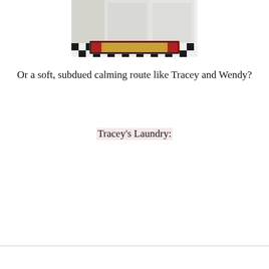[Figure (photo): Photo showing the bottom portion of a laundry room with a washer and dryer on a black and white checkered floor, with a decorative red and yellow rug in front of the appliances.]
Or a soft, subdued calming route like Tracey and Wendy?
Tracey's Laundry: